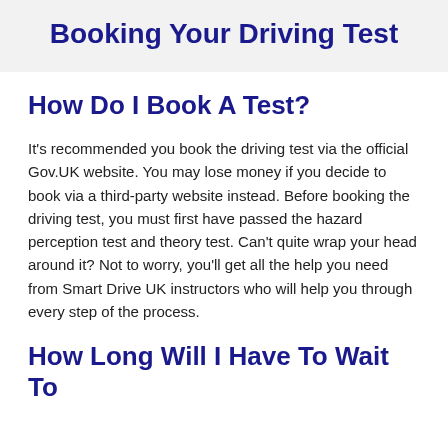Booking Your Driving Test
How Do I Book A Test?
It's recommended you book the driving test via the official Gov.UK website. You may lose money if you decide to book via a third-party website instead. Before booking the driving test, you must first have passed the hazard perception test and theory test. Can't quite wrap your head around it? Not to worry, you'll get all the help you need from Smart Drive UK instructors who will help you through every step of the process.
How Long Will I Have To Wait To